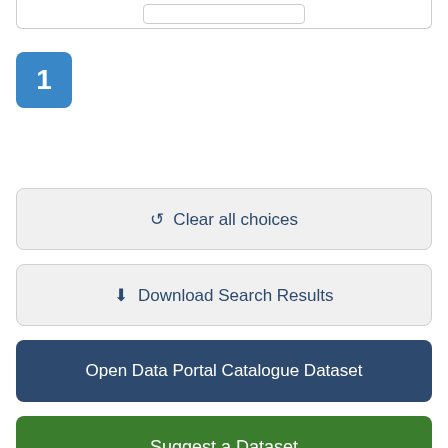[Figure (screenshot): Top portion of a UI panel with a rounded border and an inner button element partially visible at top]
1
Clear all choices
Download Search Results
Open Data Portal Catalogue Dataset
Suggest a Dataset